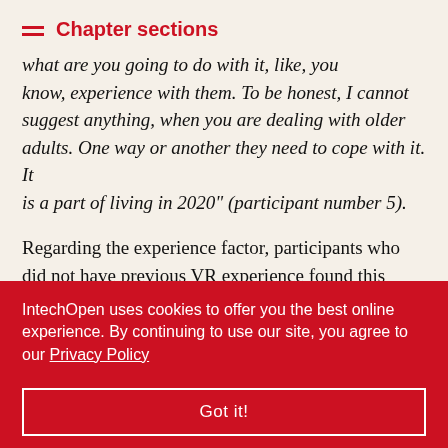Chapter sections
...what are you going to do with it, like, you know, experience with them. To be honest, I cannot suggest anything, when you are dealing with older adults. One way or another they need to cope with it. It is a part of living in 2020" (participant number 5).
Regarding the experience factor, participants who did not have previous VR experience found this technology to be a new, interesting, and enjoyable experience. Still, those who had more experience had a closer look at this technology and thought that ... ng and this ... mple answers
IntechOpen uses cookies to offer you the best online experience. By continuing to use our site, you agree to our Privacy Policy
Got it!
ed VR in that way. We use it for games, but I never used it with work